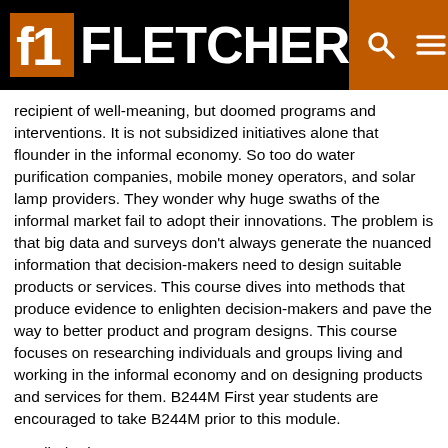FLETCHER
recipient of well-meaning, but doomed programs and interventions. It is not subsidized initiatives alone that flounder in the informal economy. So too do water purification companies, mobile money operators, and solar lamp providers. They wonder why huge swaths of the informal market fail to adopt their innovations. The problem is that big data and surveys don't always generate the nuanced information that decision-makers need to design suitable products or services. This course dives into methods that produce evidence to enlighten decision-makers and pave the way to better product and program designs. This course focuses on researching individuals and groups living and working in the informal economy and on designing products and services for them. B244M First year students are encouraged to take B244M prior to this module.
Credits/Units: 1.5
FID D350 Corporate Social...